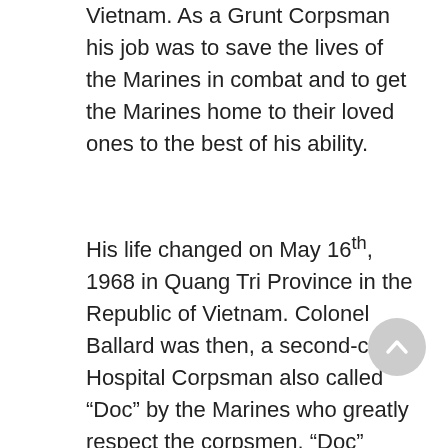Vietnam. As a Grunt Corpsman his job was to save the lives of the Marines in combat and to get the Marines home to their loved ones to the best of his ability.
His life changed on May 16th, 1968 in Quang Tri Province in the Republic of Vietnam. Colonel Ballard was then, a second-class Hospital Corpsman also called “Doc” by the Marines who greatly respect the corpsmen. “Doc” Ballard had evacuated a couple of Marines who had succumbed to heat exhaustion, and was returning to his unit when his unit was attacked by the North Vietnamese Army. His unit was caught in a fierce battle and had loss several Marines. “Doc” Ballard was treating six Marines and was directing the Marines to move the wounded Marines to a safer location when the enemy began throwing hand grenades and shooting into the small